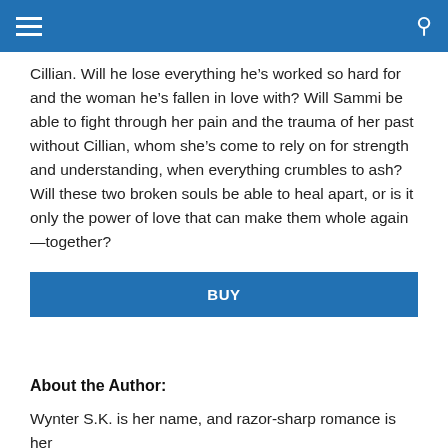[hamburger menu] [search icon]
Cillian. Will he lose everything he’s worked so hard for and the woman he’s fallen in love with? Will Sammi be able to fight through her pain and the trauma of her past without Cillian, whom she’s come to rely on for strength and understanding, when everything crumbles to ash? Will these two broken souls be able to heal apart, or is it only the power of love that can make them whole again—together?
BUY
About the Author:
Wynter S.K. is her name, and razor-sharp romance is her